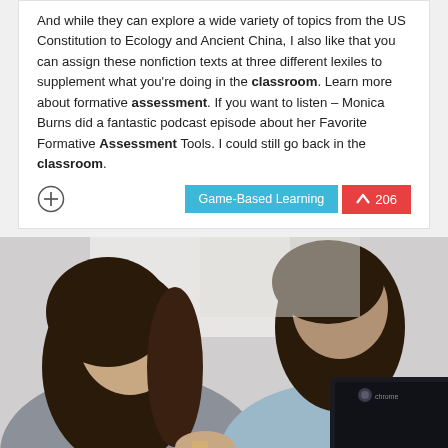And while they can explore a wide variety of topics from the US Constitution to Ecology and Ancient China, I also like that you can assign these nonfiction texts at three different lexiles to supplement what you're doing in the classroom. Learn more about formative assessment. If you want to listen – Monica Burns did a fantastic podcast episode about her Favorite Formative Assessment Tools. I could still go back in the classroom.
[Figure (photo): Two young women with long dark hair, one in a grey top and one in a light blue top, sitting together looking at a Samsung Chromebook laptop]